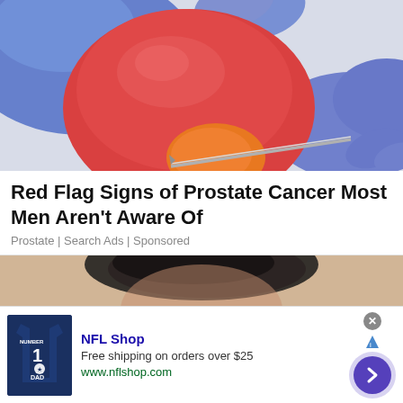[Figure (photo): Medical gloved hands (blue latex gloves) holding a red anatomical model of a prostate gland with a surgical needle/probe inserted into an orange lower section, on a white background.]
Red Flag Signs of Prostate Cancer Most Men Aren't Aware Of
Prostate | Search Ads | Sponsored
[Figure (photo): Partial view of a dark-haired person's head, blurred background in beige/tan tones.]
[Figure (other): Advertisement banner: NFL Shop. Free shipping on orders over $25. www.nflshop.com. Shows a navy blue NFL #1 DAD jersey on left, and a blue circular chevron button on right.]